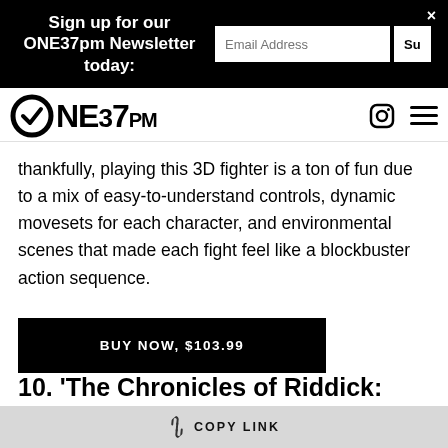Sign up for our ONE37pm Newsletter today:
[Figure (logo): ONE37PM logo with circular checkmark emblem and site navigation icons]
thankfully, playing this 3D fighter is a ton of fun due to a mix of easy-to-understand controls, dynamic movesets for each character, and environmental scenes that made each fight feel like a blockbuster action sequence.
BUY NOW, $103.99
10. ‘The Chronicles of Riddick: Escape from Butcher Bay’
COPY LINK